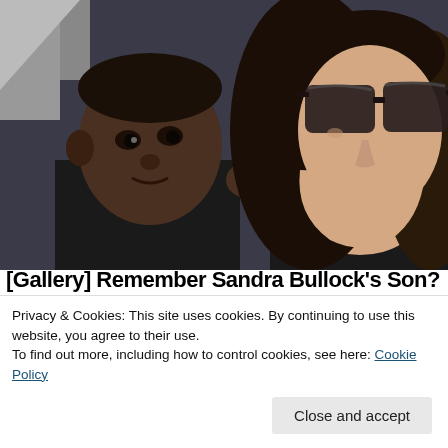[Figure (photo): A woman with long dark hair and sunglasses holding a young child with dark skin, both wearing dark clothing, photographed outdoors.]
[Gallery] Remember Sandra Bullock's Son?
Privacy & Cookies: This site uses cookies. By continuing to use this website, you agree to their use.
To find out more, including how to control cookies, see here: Cookie Policy